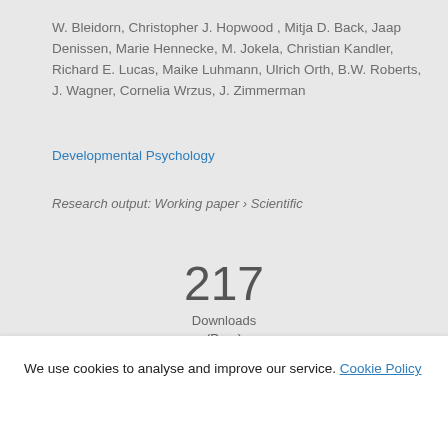W. Bleidorn, Christopher J. Hopwood , Mitja D. Back, Jaap Denissen, Marie Hennecke, M. Jokela, Christian Kandler, Richard E. Lucas, Maike Luhmann, Ulrich Orth, B.W. Roberts, J. Wagner, Cornelia Wrzus, J. Zimmerman
Developmental Psychology
Research output: Working paper › Scientific
217 Downloads (Pure)
[Figure (illustration): Partial globe/world map illustration in teal/blue color, cropped at bottom of page]
We use cookies to analyse and improve our service. Cookie Policy